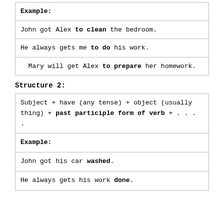| Example: |
| John got Alex to clean the bedroom. |
| He always gets me to do his work. |
| Mary will get Alex to prepare her homework. |
Structure 2:
| Subject + have (any tense) + object (usually thing) + past participle form of verb + . . . . |
| Example: |
| John got his car washed. |
| He always gets his work done. |